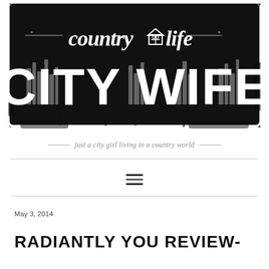[Figure (logo): Country Life City Wife blog logo — black brushstroke background with cursive 'country life' text and barn icon above large bold white 'CITY WIFE' letters with city skyline silhouette integrated into letterforms]
just a city girl living in a country world
May 3, 2014
RADIANTLY YOU REVIEW-